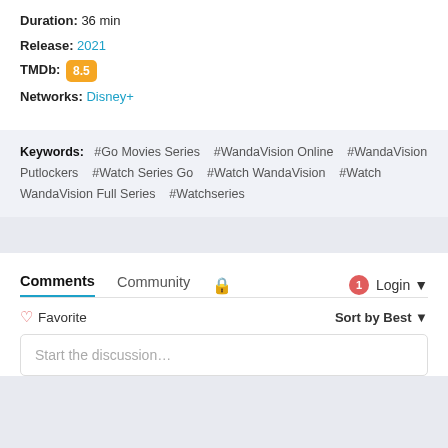TV Status: Returning Series
Duration: 36 min
Release: 2021
TMDb: 8.5
Networks: Disney+
Keywords: #Go Movies Series  #WandaVision Online  #WandaVision Putlockers  #Watch Series Go  #Watch WandaVision  #Watch WandaVision Full Series  #Watchseries
Comments  Community  Login  Favorite  Sort by Best  Start the discussion...